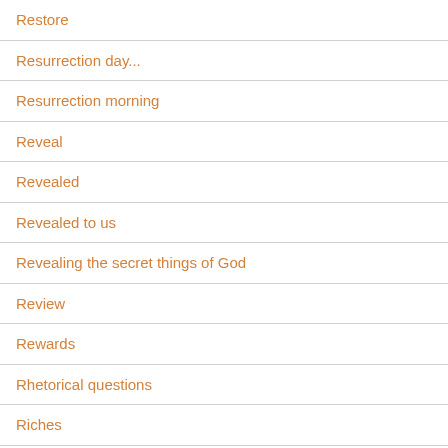Restore
Resurrection day...
Resurrection morning
Reveal
Revealed
Revealed to us
Revealing the secret things of God
Review
Rewards
Rhetorical questions
Riches
Ridiculous question
right about Romance